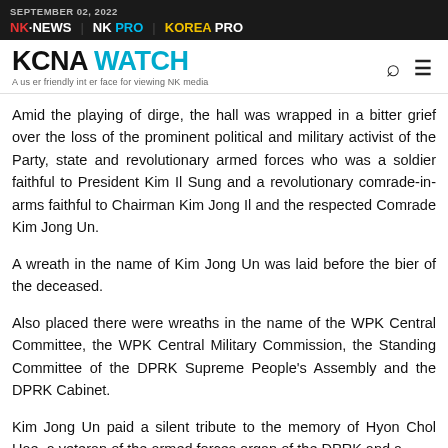SEPTEMBER 02, 2022 | NK NEWS | NK PRO | KOREA PRO
KCNA WATCH — A user friendly interface for viewing NK media
Amid the playing of dirge, the hall was wrapped in a bitter grief over the loss of the prominent political and military activist of the Party, state and revolutionary armed forces who was a soldier faithful to President Kim Il Sung and a revolutionary comrade-in-arms faithful to Chairman Kim Jong Il and the respected Comrade Kim Jong Un.
A wreath in the name of Kim Jong Un was laid before the bier of the deceased.
Also placed there were wreaths in the name of the WPK Central Committee, the WPK Central Military Commission, the Standing Committee of the DPRK Supreme People's Assembly and the DPRK Cabinet.
Kim Jong Un paid a silent tribute to the memory of Hyon Chol Hae, a veteran of the armed forces organ of the DPRK and a